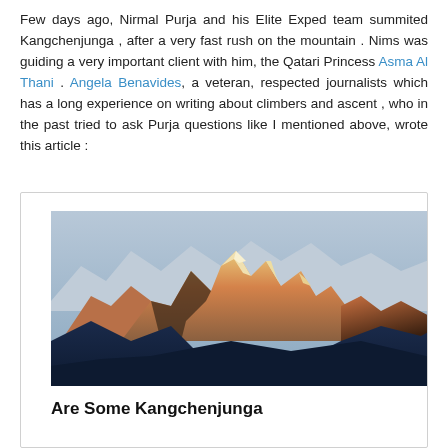Few days ago, Nirmal Purja and his Elite Exped team summited Kangchenjunga , after a very fast rush on the mountain . Nims was guiding a very important client with him, the Qatari Princess Asma Al Thani . Angela Benavides, a veteran, respected journalists which has a long experience on writing about climbers and ascent , who in the past tried to ask Purja questions like I mentioned above, wrote this article :
[Figure (photo): Photograph of Kangchenjunga mountain at golden hour/sunset, showing snow-capped peaks with orange/golden light on the rocky faces, dark blue shadowed foreground hills, blue sky background.]
Are Some Kangchenjunga